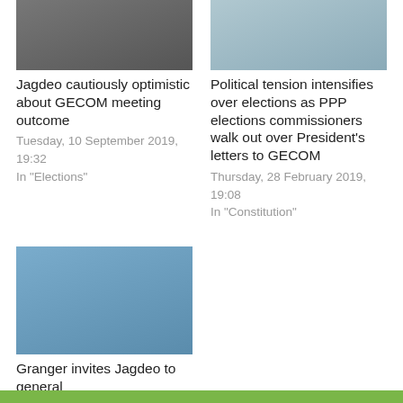[Figure (photo): Photo of people seated at a meeting room, top-left article]
Jagdeo cautiously optimistic about GECOM meeting outcome
Tuesday, 10 September 2019, 19:32
In "Elections"
[Figure (photo): Photo of Elections Commission building signage, top-right article]
Political tension intensifies over elections as PPP elections commissioners walk out over President's letters to GECOM
Thursday, 28 February 2019, 19:08
In "Constitution"
[Figure (photo): Photo of two men seated, bottom-left article]
Granger invites Jagdeo to general